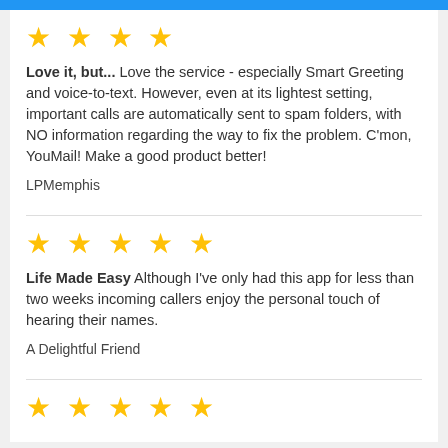[Figure (other): Blue header bar]
[Figure (other): 4 gold stars rating]
Love it, but... Love the service - especially Smart Greeting and voice-to-text. However, even at its lightest setting, important calls are automatically sent to spam folders, with NO information regarding the way to fix the problem. C'mon, YouMail! Make a good product better!
LPMemphis
[Figure (other): 5 gold stars rating]
Life Made Easy Although I've only had this app for less than two weeks incoming callers enjoy the personal touch of hearing their names.
A Delightful Friend
[Figure (other): 5 gold stars rating]